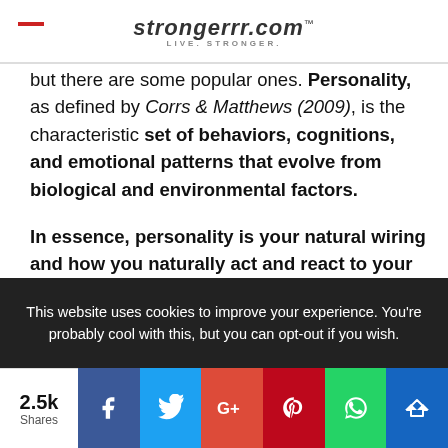strongerrr.com™ LIVE. STRONGER.
but there are some popular ones. Personality, as defined by Corrs & Matthews (2009), is the characteristic set of behaviors, cognitions, and emotional patterns that evolve from biological and environmental factors.

In essence, personality is your natural wiring and how you naturally act and react to your environment. There are thousands of different components and
This website uses cookies to improve your experience. You're probably cool with this, but you can opt-out if you wish.
2.5k Shares